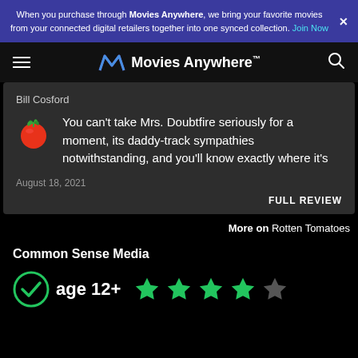When you purchase through Movies Anywhere, we bring your favorite movies from your connected digital retailers together into one synced collection. Join Now
[Figure (logo): Movies Anywhere logo with hamburger menu and search icon navigation bar]
Bill Cosford
You can't take Mrs. Doubtfire seriously for a moment, its daddy-track sympathies notwithstanding, and you'll know exactly where it's
August 18, 2021
FULL REVIEW
More on Rotten Tomatoes
Common Sense Media
age 12+  ★★★★☆